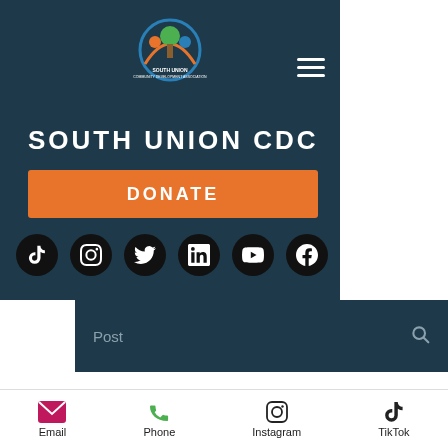[Figure (screenshot): South Union CDC website screenshot showing logo, hamburger menu, SOUTH UNION CDC title, orange DONATE button, and social media icons row (TikTok, Instagram, Twitter, LinkedIn, YouTube, Facebook)]
[Figure (screenshot): Website search bar with 'Post' placeholder text and search icon on dark background]
South Union CDC 🎖 Dec 22, 2021 • 2 min
TLD FM RADIO
[Figure (screenshot): Mobile app bottom navigation bar with Email (pink envelope), Phone (green phone), Instagram, and TikTok icons]